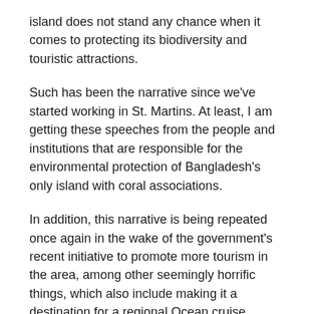island does not stand any chance when it comes to protecting its biodiversity and touristic attractions.
Such has been the narrative since we've started working in St. Martins. At least, I am getting these speeches from the people and institutions that are responsible for the environmental protection of Bangladesh's only island with coral associations.
In addition, this narrative is being repeated once again in the wake of the government's recent initiative to promote more tourism in the area, among other seemingly horrific things, which also include making it a destination for a regional Ocean cruise.
Indeed, the scenario is not something which can be described as 'promising'. Even the government has acknowledged the scenario by declaring the terrestrial